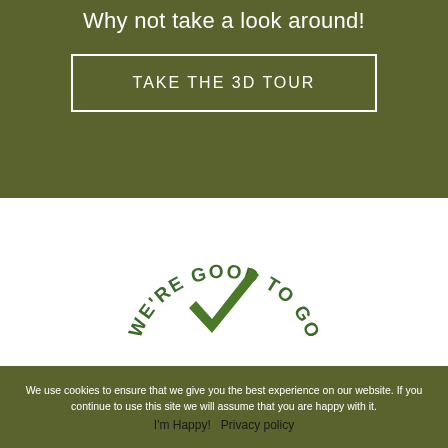Why not take a look around!
TAKE THE 3D TOUR
[Figure (logo): Circular badge/stamp with text 'WE'RE GOOD TO GO' arranged in an arc, with a green checkmark in the center]
We use cookies to ensure that we give you the best experience on our website. If you continue to use this site we will assume that you are happy with it.
I'm Happy!  Privacy policy